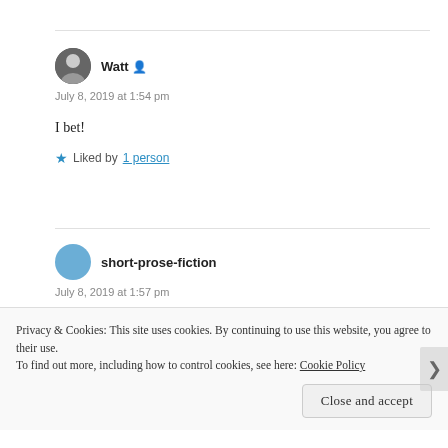Watt
July 8, 2019 at 1:54 pm
I bet!
★ Liked by 1 person
short-prose-fiction
July 8, 2019 at 1:57 pm
🙂
Privacy & Cookies: This site uses cookies. By continuing to use this website, you agree to their use.
To find out more, including how to control cookies, see here: Cookie Policy
Close and accept